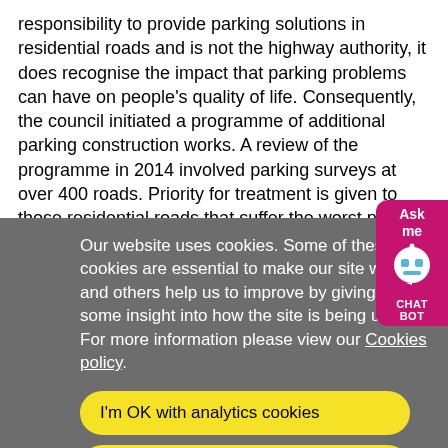responsibility to provide parking solutions in residential roads and is not the highway authority, it does recognise the impact that parking problems can have on people's quality of life. Consequently, the council initiated a programme of additional parking construction works. A review of the programme in 2014 involved parking surveys at over 400 roads. Priority for treatment is given to those residential roads that suffer the worst parking difficulties
Our website uses cookies. Some of these cookies are essential to make our site work and others help us to improve by giving us some insight into how the site is being used. For more information please view our Cookies policy.
I'm OK with analytics cookies
Do not use analytics cookies